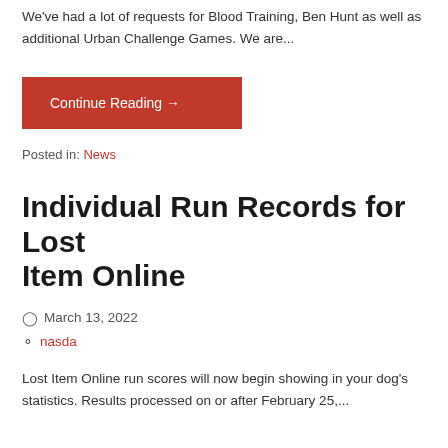We've had a lot of requests for Blood Training, Ben Hunt as well as additional Urban Challenge Games. We are...
Continue Reading →
Posted in: News
Individual Run Records for Lost Item Online
March 13, 2022
nasda
Lost Item Online run scores will now begin showing in your dog's statistics. Results processed on or after February 25,...